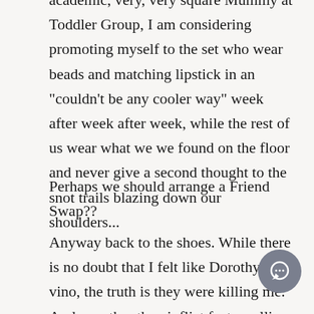academic, very, very square Mummy at Toddler Group, I am considering promoting myself to the set who wear beads and matching lipstick in an "couldn't be any cooler way" week after week after week, while the rest of us wear what we we found on the floor and never give a second thought to the snot trails blazing down our shoulders...
Perhaps we should arrange a Friend Swap??
Anyway back to the shoes. While there is no doubt that I felt like Dorothy on vino, the truth is they were killing me. And so rather than inflict feet smelling to high heaven on your unsuspecting nighbours, I s grimaced in a "this is my happy face" kind of way and